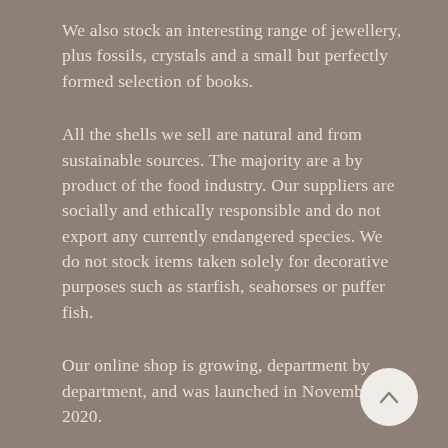We also stock an interesting range of jewellery, plus fossils, crystals and a small but perfectly formed selection of books.
All the shells we sell are natural and from sustainable sources. The majority are a by product of the food industry. Our suppliers are socially and ethically responsible and do not export any currently endangered species. We do not stock items taken solely for decorative purposes such as starfish, seahorses or puffer fish.
Our online shop is growing, department by department, and was launched in November 2020.